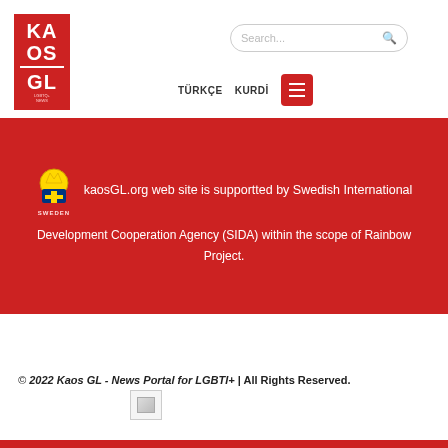[Figure (logo): KAOS GL red logo square with KA OS GL text and horizontal line]
[Figure (screenshot): Search bar with placeholder text Search...]
TÜRKÇE   KURDİ
kaosGL.org web site is supportted by Swedish International Development Cooperation Agency (SIDA) within the scope of Rainbow Project.
© 2022 Kaos GL - News Portal for LGBTI+ | All Rights Reserved.